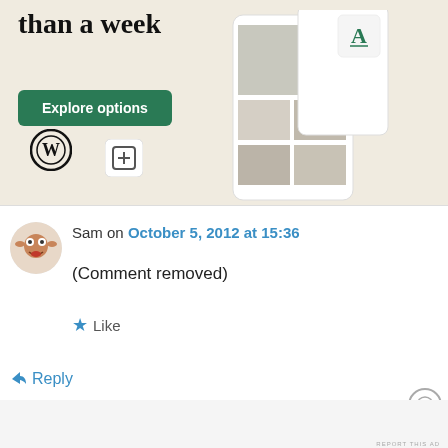[Figure (screenshot): WordPress advertisement banner with text 'designed sites in less than a week', green Explore options button, WordPress logo, and website mockup screenshots on beige background]
REPORT THIS AD
Sam on October 5, 2012 at 15:36
(Comment removed)
Like
Reply
Advertisements
AUTOMATTIC
Build a better web and a better world.
REPORT THIS AD